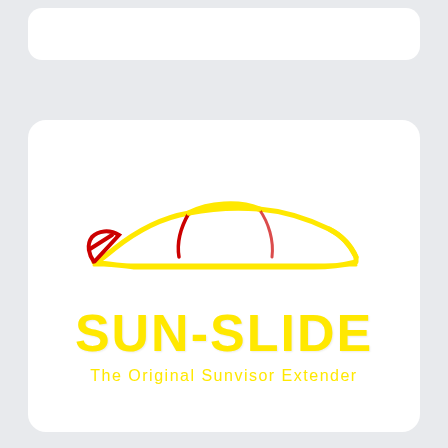[Figure (logo): Sun-Slide logo featuring a stylized car silhouette outline in yellow with red accent lines at the front, above the text 'SUN-SLIDE' in large bold yellow letters, and the tagline 'The Original Sunvisor Extender' in yellow below.]